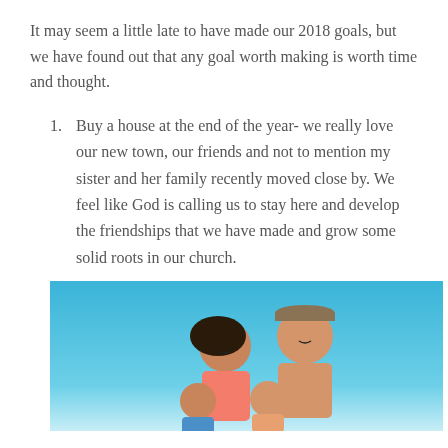It may seem a little late to have made our 2018 goals, but we have found out that any goal worth making is worth time and thought.
Buy a house at the end of the year- we really love our new town, our friends and not to mention my sister and her family recently moved close by. We feel like God is calling us to stay here and develop the friendships that we have made and grow some solid roots in our church.
[Figure (photo): A family of four (couple and two young children) smiling together at a beach against a blue sky background.]